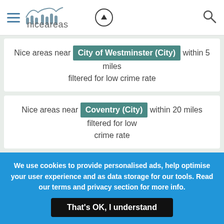niceareas
Nice areas near City of Westminster (City) within 5 miles filtered for low crime rate
Nice areas near Coventry (City) within 20 miles filtered for low crime rate
Nice areas near Derby (City) within 20 miles filtered for low crime rate
We use cookies to provide personalised ads, help optimise your user experience and as data storage for our tools. Read our terms and privacy section for more info.
That's OK, I understand